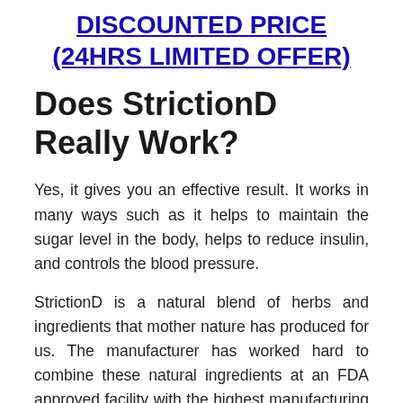DISCOUNTED PRICE (24HRS LIMITED OFFER)
Does StrictionD Really Work?
Yes, it gives you an effective result. It works in many ways such as it helps to maintain the sugar level in the body, helps to reduce insulin, and controls the blood pressure.
StrictionD is a natural blend of herbs and ingredients that mother nature has produced for us. The manufacturer has worked hard to combine these natural ingredients at an FDA approved facility with the highest manufacturing protocols in place.